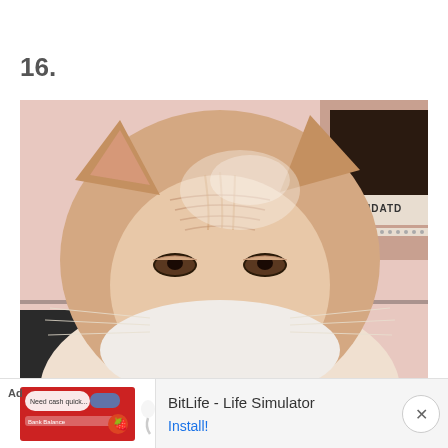16.
[Figure (photo): Close-up photo of a cream/orange tabby cat with a grumpy or sleepy expression, looking downward. The cat has wrinkled forehead fur, half-closed eyes, and white chest fur. Background shows a pink wall and a dark surface with text partially visible reading 'MATMATDATD'.]
[Figure (other): Advertisement banner for BitLife - Life Simulator app. Shows 'Ad' label, app icon imagery with a sperm emoji and strawberry character, and an Install button.]